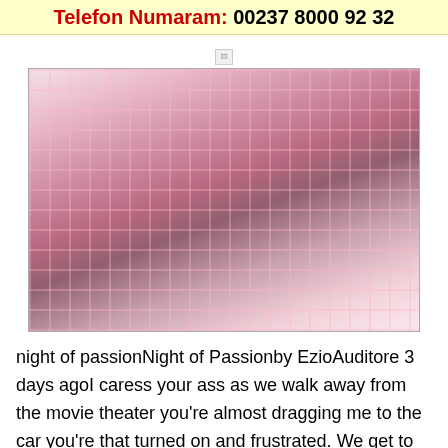Telefon Numaram: 00237 8000 92 32
[Figure (photo): A photo of a person in lingerie and white stockings inside a pink wire cage/crate on a white fluffy rug]
night of passionNight of Passionby EzioAuditore 3 days agoI caress your ass as we walk away from the movie theater you're almost dragging me to the car you're that turned on and frustrated. We get to the car and I lay you